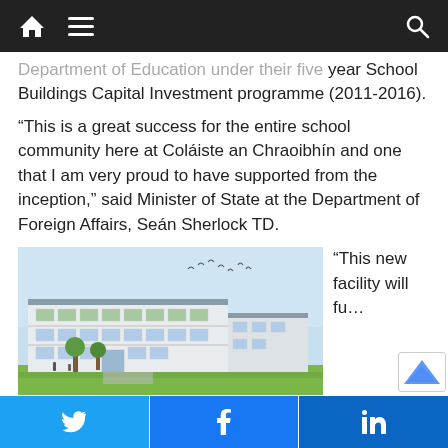Navigation bar with home, menu, and search icons
Department of Education under their five year School Buildings Capital Investment programme (2011-2016).
“This is a great success for the entire school community here at Coláiste an Chraoibhín and one that I am very proud to have supported from the inception,” said Minister of State at the Department of Foreign Affairs, Seán Sherlock TD.
[Figure (photo): Architectural rendering of a modern white multi-storey school building with green trees and birds in the sky]
“This new facility will fu…
Twitter share | Facebook share | LinkedIn share buttons